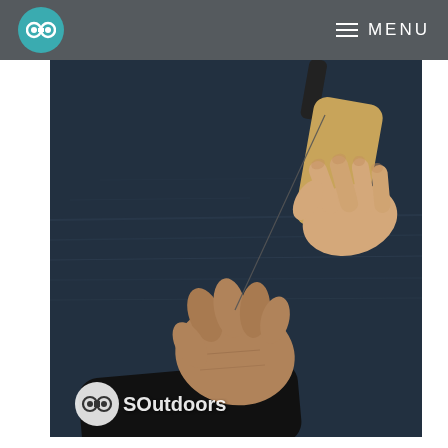SOutdoors — MENU
[Figure (photo): Close-up photo of a person holding a fishing rod with a wooden handle, while another hand holds fishing line near a dark water background. SOutdoors logo watermark visible in the lower left.]